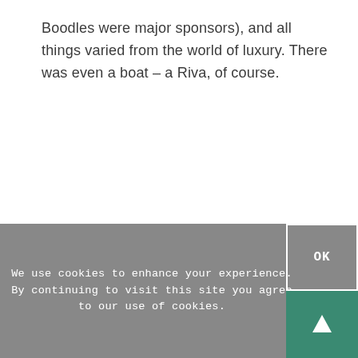Boodles were major sponsors), and all things varied from the world of luxury. There was even a boat – a Riva, of course.
We use cookies to enhance your experience. By continuing to visit this site you agree to our use of cookies.